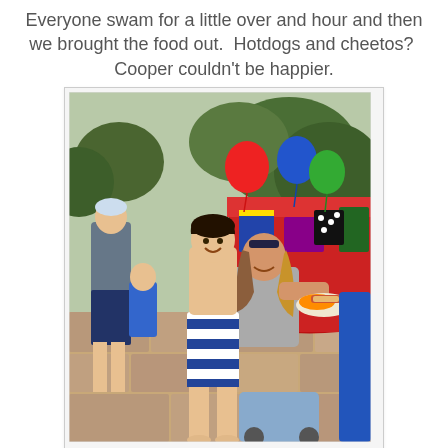Everyone swam for a little over and hour and then we brought the food out.  Hotdogs and cheetos?  Cooper couldn't be happier.
[Figure (photo): Outdoor birthday party scene. A young boy in blue and white striped swim trunks smiles at the camera while a woman in a gray t-shirt crouches behind him holding a plate of hotdogs and cheetos. In the background are colorful balloons (red, blue, green), a red-tablecloth party table with gifts, and other partygoers.]